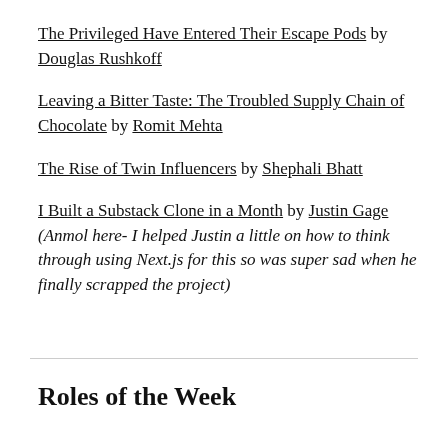The Privileged Have Entered Their Escape Pods by Douglas Rushkoff
Leaving a Bitter Taste: The Troubled Supply Chain of Chocolate by Romit Mehta
The Rise of Twin Influencers by Shephali Bhatt
I Built a Substack Clone in a Month by Justin Gage (Anmol here- I helped Justin a little on how to think through using Next.js for this so was super sad when he finally scrapped the project)
Roles of the Week